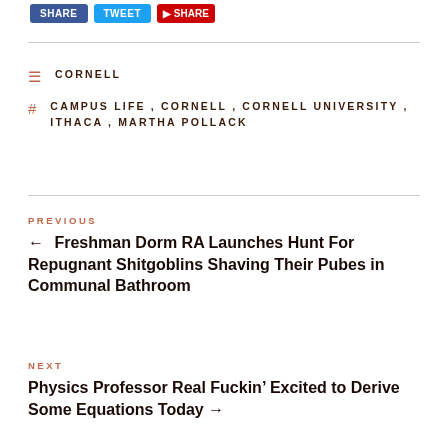[Figure (other): Social share buttons: Facebook (blue), Twitter (blue), YouTube (red)]
CORNELL
CAMPUS LIFE , CORNELL , CORNELL UNIVERSITY , ITHACA , MARTHA POLLACK
PREVIOUS
← Freshman Dorm RA Launches Hunt For Repugnant Shitgoblins Shaving Their Pubes in Communal Bathroom
NEXT
Physics Professor Real Fuckin' Excited to Derive Some Equations Today →